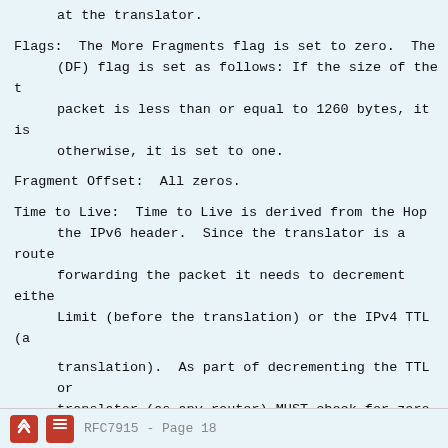identification set according to a fragment identification at the translator.
Flags:  The More Fragments flag is set to zero.  The (DF) flag is set as follows: If the size of the t packet is less than or equal to 1260 bytes, it is otherwise, it is set to one.
Fragment Offset:  All zeros.
Time to Live:  Time to Live is derived from the Hop the IPv6 header.  Since the translator is a route forwarding the packet it needs to decrement eithe Limit (before the translation) or the IPv4 TTL (a
RFC7915 - Page 18
translation).  As part of decrementing the TTL or translator (as any router) MUST check for zero an "TTL Exceeded" or ICMPv6 "Hop Limit Exceeded" err